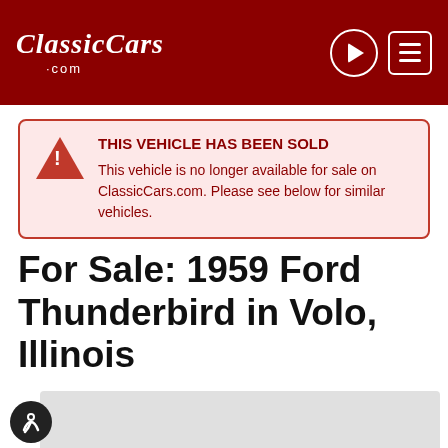ClassicCars.com
THIS VEHICLE HAS BEEN SOLD
This vehicle is no longer available for sale on ClassicCars.com. Please see below for similar vehicles.
For Sale: 1959 Ford Thunderbird in Volo, Illinois
[Figure (photo): Partial view of a car listing photo with volocars.com watermark banner]